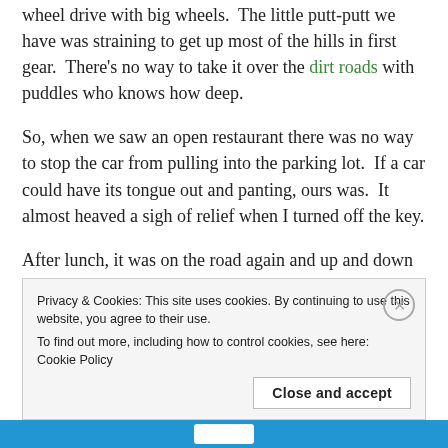wheel drive with big wheels.  The little putt-putt we have was straining to get up most of the hills in first gear.  There's no way to take it over the dirt roads with puddles who knows how deep.
So, when we saw an open restaurant there was no way to stop the car from pulling into the parking lot.  If a car could have its tongue out and panting, ours was.  It almost heaved a sigh of relief when I turned off the key.
After lunch, it was on the road again and up and down the mountains.  By the time we arrived in
Privacy & Cookies: This site uses cookies. By continuing to use this website, you agree to their use.
To find out more, including how to control cookies, see here: Cookie Policy
Close and accept